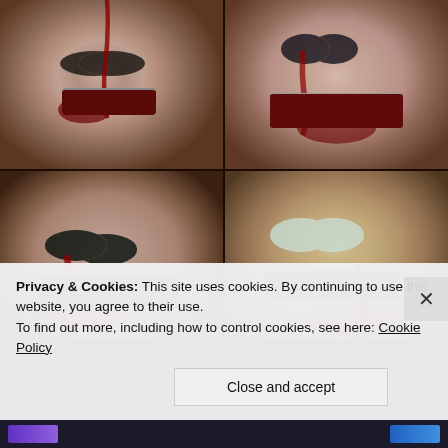[Figure (photo): A 2x2 grid of four horror/zombie face sculptures or props. Each face has hollow dark eye sockets with pale/green inserts, exposed teeth, and simulated blood. The faces appear to be made from clay or plaster with a weathered, gory appearance against a rust-colored rocky background.]
Privacy & Cookies: This site uses cookies. By continuing to use this website, you agree to their use.
To find out more, including how to control cookies, see here: Cookie Policy
Close and accept